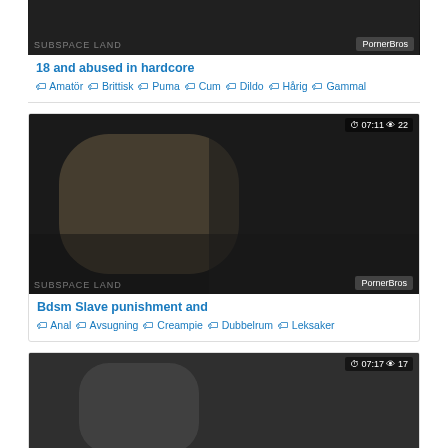[Figure (screenshot): Video thumbnail for '18 and abused in hardcore' with PornerBros watermark and SUBSPACE LAND label]
18 and abused in hardcore
🏷 Amatör 🏷 Brittisk 🏷 Puma 🏷 Cum 🏷 Dildo 🏷 Hårig 🏷 Gammal
[Figure (screenshot): Video thumbnail for 'Bdsm Slave punishment and' with timer 07:11 and 22 views, PornerBros watermark and SUBSPACE LAND label]
Bdsm Slave punishment and
🏷 Anal 🏷 Avsugning 🏷 Creampie 🏷 Dubbelrum 🏷 Leksaker
[Figure (screenshot): Video thumbnail with timer 07:17 and 17 views, partially visible]